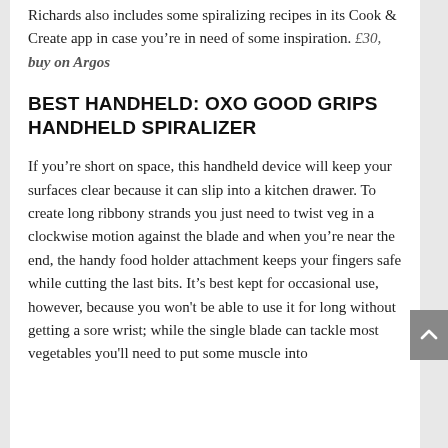Richards also includes some spiralizing recipes in its Cook & Create app in case you're in need of some inspiration. £30, buy on Argos
BEST HANDHELD: OXO GOOD GRIPS HANDHELD SPIRALIZER
If you're short on space, this handheld device will keep your surfaces clear because it can slip into a kitchen drawer. To create long ribbony strands you just need to twist veg in a clockwise motion against the blade and when you're near the end, the handy food holder attachment keeps your fingers safe while cutting the last bits. It's best kept for occasional use, however, because you won't be able to use it for long without getting a sore wrist; while the single blade can tackle most vegetables you'll need to put some muscle into